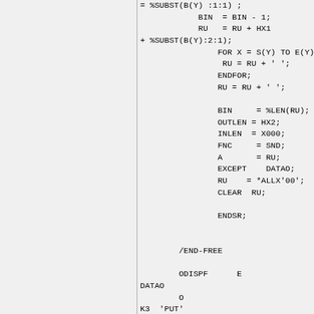= %SUBST(B(Y) :1:1) ;
            BIN  = BIN - 1;
            RU   = RU + HX1
+ %SUBST(B(Y):2:1);
                FOR X = S(Y) TO E(Y);
                 RU = RU + ' ';
                ENDFOR;
                RU = RU + ' ';

                BIN     = %LEN(RU);
                OUTLEN = HX2;
                INLEN  = X000;
                FNC     = SND;
                A       = RU;
                EXCEPT    DATAO;
                RU    = *ALLX'00';
                CLEAR  RU;

                ENDSR;


        /END-FREE

        ODISPF      E
DATAO
        O
K3  'PUT'
        O
OUTLEN                          2
        O
INLEN
        O